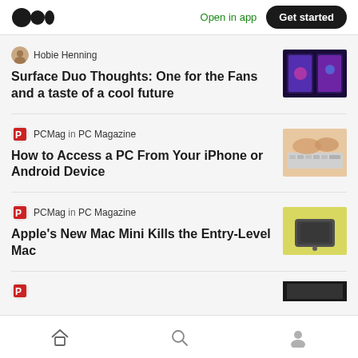Medium — Open in app | Get started
Hobie Henning
Surface Duo Thoughts: One for the Fans and a taste of a cool future
PCMag in PC Magazine
How to Access a PC From Your iPhone or Android Device
PCMag in PC Magazine
Apple's New Mac Mini Kills the Entry-Level Mac
Home | Search | Profile